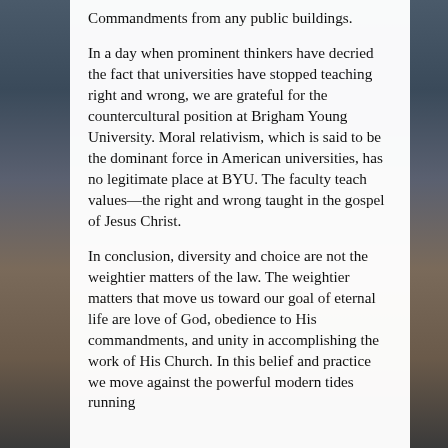Commandments from any public buildings.
In a day when prominent thinkers have decried the fact that universities have stopped teaching right and wrong, we are grateful for the countercultural position at Brigham Young University. Moral relativism, which is said to be the dominant force in American universities, has no legitimate place at BYU. The faculty teach values—the right and wrong taught in the gospel of Jesus Christ.
In conclusion, diversity and choice are not the weightier matters of the law. The weightier matters that move us toward our goal of eternal life are love of God, obedience to His commandments, and unity in accomplishing the work of His Church. In this belief and practice we move against the powerful modern tides running to individual rights, to say the t...